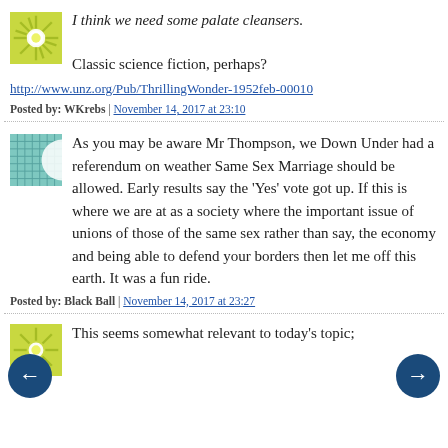I think we need some palate cleansers.

Classic science fiction, perhaps?

http://www.unz.org/Pub/ThrillingWonder-1952feb-00010
Posted by: WKrebs | November 14, 2017 at 23:10
As you may be aware Mr Thompson, we Down Under had a referendum on weather Same Sex Marriage should be allowed. Early results say the 'Yes' vote got up. If this is where we are at as a society where the important issue of unions of those of the same sex rather than say, the economy and being able to defend your borders then let me off this earth. It was a fun ride.
Posted by: Black Ball | November 14, 2017 at 23:27
This seems somewhat relevant to today's topic;